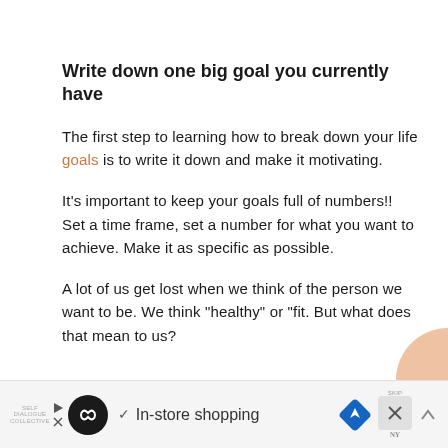Write down one big goal you currently have
The first step to learning how to break down your life goals is to write it down and make it motivating.
It’s important to keep your goals full of numbers!! Set a time frame, set a number for what you want to achieve. Make it as specific as possible.
A lot of us get lost when we think of the person we want to be. We think “healthy” or “fit. But what does that mean to us?
In-store shopping